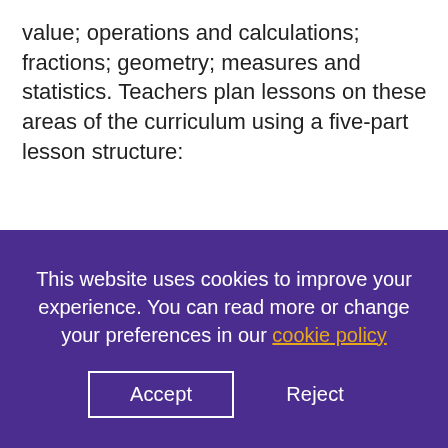value; operations and calculations; fractions; geometry; measures and statistics. Teachers plan lessons on these areas of the curriculum using a five-part lesson structure:
1. Revise and review
2. Mental maths
3. Whole class teaching
4. Independent application
This website uses cookies to improve your experience. You can read more or change your preferences in our cookie policy
Accept
Reject